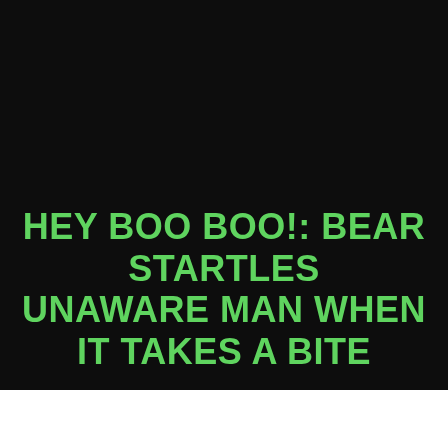HEY BOO BOO!: BEAR STARTLES UNAWARE MAN WHEN IT TAKES A BITE